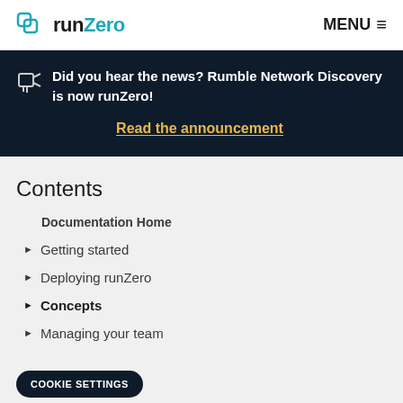runZero MENU
Did you hear the news? Rumble Network Discovery is now runZero!
Read the announcement
Contents
Documentation Home
Getting started
Deploying runZero
Concepts
Managing your team
COOKIE SETTINGS